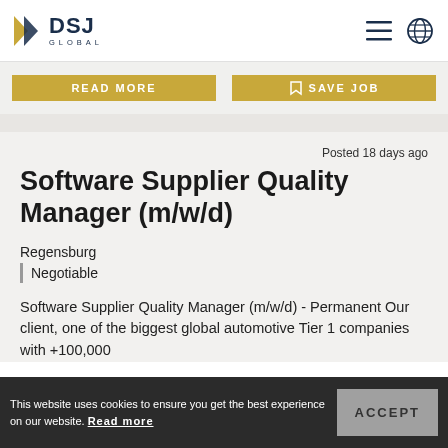DSJ GLOBAL
[Figure (logo): DSJ Global logo with gold chevron arrow and dark blue DSJ GLOBAL text]
READ MORE
SAVE JOB
Posted 18 days ago
Software Supplier Quality Manager (m/w/d)
Regensburg
Negotiable
Software Supplier Quality Manager (m/w/d) - Permanent Our client, one of the biggest global automotive Tier 1 companies with +100,000
This website uses cookies to ensure you get the best experience on our website. Read more
ACCEPT